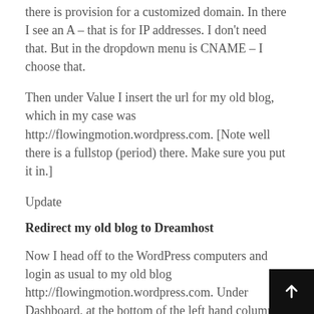there is provision for a customized domain. In there I see an A – that is for IP addresses. I don't need that. But in the dropdown menu is CNAME – I choose that.
Then under Value I insert the url for my old blog, which in my case was http://flowingmotion.wordpress.com. [Note well there is a fullstop (period) there. Make sure you put it in.]
Update
Redirect my old blog to Dreamhost
Now I head off to the WordPress computers and login as usual to my old blog http://flowingmotion.wordpress.com. Under Dashboard, at the bottom of the left hand column, I choose domains, and add the domain